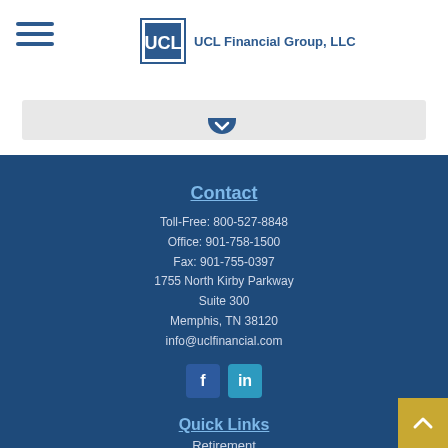[Figure (logo): UCL Financial Group LLC logo with hamburger menu icon on the left]
[Figure (other): Gray content bar with blue down-arrow/chevron element at bottom center]
Contact
Toll-Free: 800-527-8848
Office: 901-758-1500
Fax: 901-755-0397
1755 North Kirby Parkway
Suite 300
Memphis, TN 38120
info@uclfinancial.com
[Figure (other): Facebook and LinkedIn social media icons]
Quick Links
Retirement